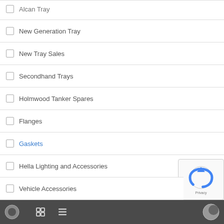Alcan Tray
New Generation Tray
New Tray Sales
Secondhand Trays
Holmwood Tanker Spares
Flanges
Gaskets
Hella Lighting and Accessories
Holmwood Tanker Spare Parts
Misc Accessories
Stickers
PPE, Safety and Consumables
Uncategorised
Vehicle Accessories